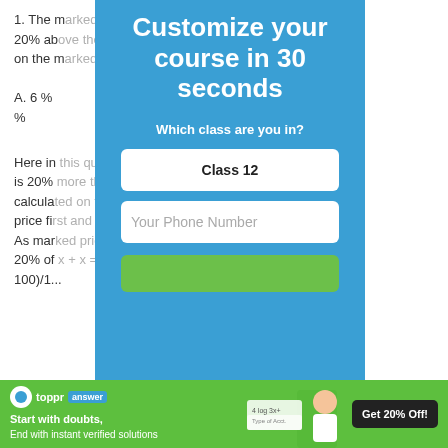1. The marked price was 20% above the cost price. It was sold at a discount of 10% on the marked price.
A. 6 %   B. 4%   C. 8%   D. 5%
Here in this question, we are given the market price which is 20% more than the cost price. Also, profit is always calculated on the cost price. Thus we need to find the cost price first and then compute it to find the percentage. As marked price is 20% more than the cost price, CP = 20% of x + x = 1200 => 120x/100 = 1200 => x = (1200 x 100)/1...
[Figure (infographic): Blue modal overlay with text 'Customize your course in 30 seconds', 'Which class are you in?', a button 'Class 12', a phone number input field, and a green submit button.]
[Figure (infographic): Green bottom banner for Toppr answer app with logo, text 'Start with doubts, End with instant verified solutions', student image, and 'Get 20% Off!' button.]